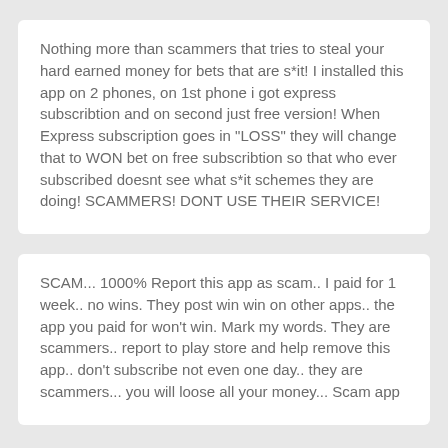Nothing more than scammers that tries to steal your hard earned money for bets that are s*it! I installed this app on 2 phones, on 1st phone i got express subscribtion and on second just free version! When Express subscription goes in "LOSS" they will change that to WON bet on free subscribtion so that who ever subscribed doesnt see what s*it schemes they are doing! SCAMMERS! DONT USE THEIR SERVICE!
SCAM... 1000% Report this app as scam.. I paid for 1 week.. no wins. They post win win on other apps.. the app you paid for won't win. Mark my words. They are scammers.. report to play store and help remove this app.. don't subscribe not even one day.. they are scammers... you will loose all your money... Scam app